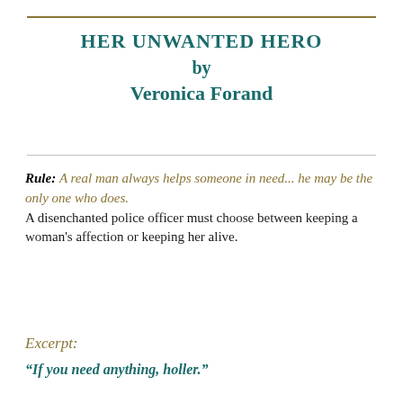HER UNWANTED HERO
by
Veronica Forand
Rule: A real man always helps someone in need... he may be the only one who does. A disenchanted police officer must choose between keeping a woman's affection or keeping her alive.
Excerpt:
“If you need anything, holler.”